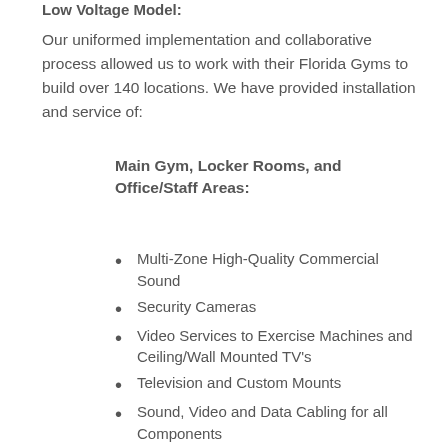Low Voltage Model:
Our uniformed implementation and collaborative process allowed us to work with their Florida Gyms to build over 140 locations. We have provided installation and service of:
Main Gym, Locker Rooms, and Office/Staff Areas:
Multi-Zone High-Quality Commercial Sound
Security Cameras
Video Services to Exercise Machines and Ceiling/Wall Mounted TV's
Television and Custom Mounts
Sound, Video and Data Cabling for all Components
Networking Equipment and Data/Phones for Office Areas